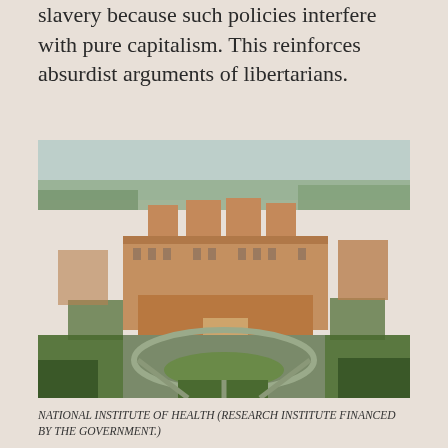slavery because such policies interfere with pure capitalism. This reinforces absurdist arguments of libertarians.
[Figure (photo): Aerial photograph of the National Institute of Health campus, showing large brick institutional buildings surrounded by roads and trees.]
NATIONAL INSTITUTE OF HEALTH (RESEARCH INSTITUTE FINANCED BY THE GOVERNMENT.)